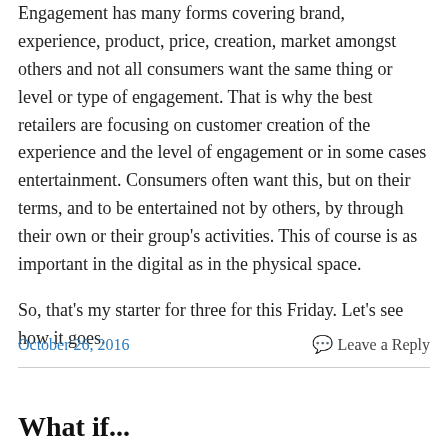Engagement has many forms covering brand, experience, product, price, creation, market amongst others and not all consumers want the same thing or level or type of engagement. That is why the best retailers are focusing on customer creation of the experience and the level of engagement or in some cases entertainment. Consumers often want this, but on their terms, and to be entertained not by others, by through their own or their group's activities. This of course is as important in the digital as in the physical space.
So, that's my starter for three for this Friday. Let's see how it goes.
October 26, 2016
Leave a Reply
What if...